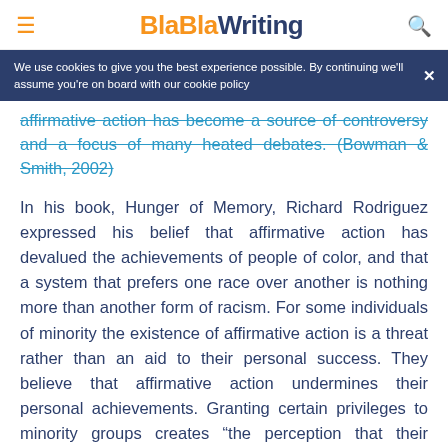BlaBlaWriting
We use cookies to give you the best experience possible. By continuing we'll assume you're on board with our cookie policy
affirmative action has become a source of controversy and a focus of many heated debates. (Bowman & Smith, 2002)
In his book, Hunger of Memory, Richard Rodriguez expressed his belief that affirmative action has devalued the achievements of people of color, and that a system that prefers one race over another is nothing more than another form of racism. For some individuals of minority the existence of affirmative action is a threat rather than an aid to their personal success. They believe that affirmative action undermines their personal achievements. Granting certain privileges to minority groups creates “the perception that their positions were given to them rather than earned” and that minority people are incapable of